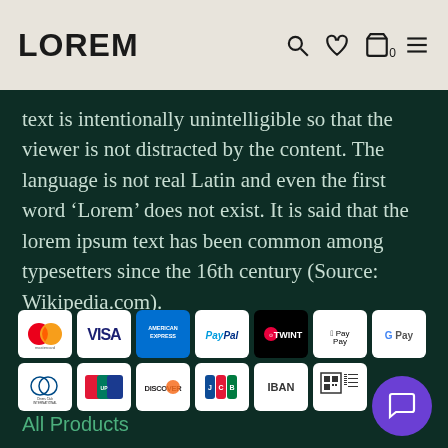LOREM
text is intentionally unintelligible so that the viewer is not distracted by the content. The language is not real Latin and even the first word ‘Lorem’ does not exist. It is said that the lorem ipsum text has been common among typesetters since the 16th century (Source: Wikipedia.com).
[Figure (other): Payment method icons in two rows: Mastercard, Visa, American Express, PayPal, Twint, Apple Pay, G Pay (top row); Diners Club International, UnionPay, Discover, JCB, IBAN, QR code (bottom row)]
All Products